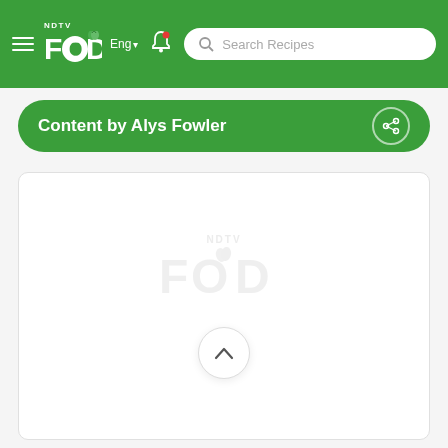NDTV Food - Eng - Search Recipes
Content by Alys Fowler
[Figure (logo): NDTV Food watermark logo centered in white content card, with a scroll-up chevron button below it]